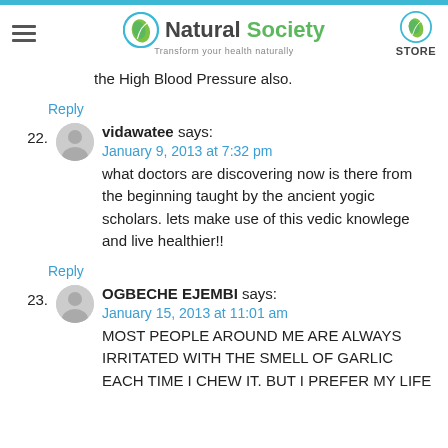Natural Society — Transform your health naturally — STORE
the High Blood Pressure also.
Reply
22. vidawatee says:
January 9, 2013 at 7:32 pm
what doctors are discovering now is there from the beginning taught by the ancient yogic scholars. lets make use of this vedic knowlege and live healthier!!
Reply
23. OGBECHE EJEMBI says:
January 15, 2013 at 11:01 am
MOST PEOPLE AROUND ME ARE ALWAYS IRRITATED WITH THE SMELL OF GARLIC EACH TIME I CHEW IT. BUT I PREFER MY LIFE